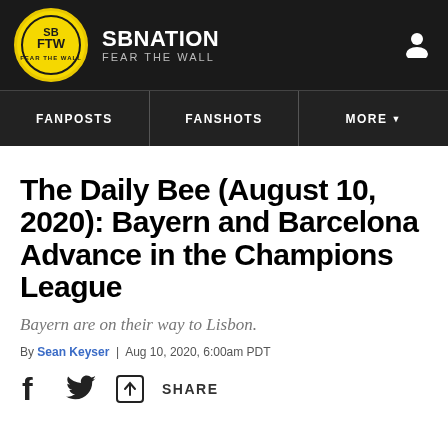SBNATION / FEAR THE WALL
FANPOSTS | FANSHOTS | MORE
The Daily Bee (August 10, 2020): Bayern and Barcelona Advance in the Champions League
Bayern are on their way to Lisbon.
By Sean Keyser | Aug 10, 2020, 6:00am PDT
[Figure (other): Social share icons: Facebook, Twitter, and generic share button with SHARE label]